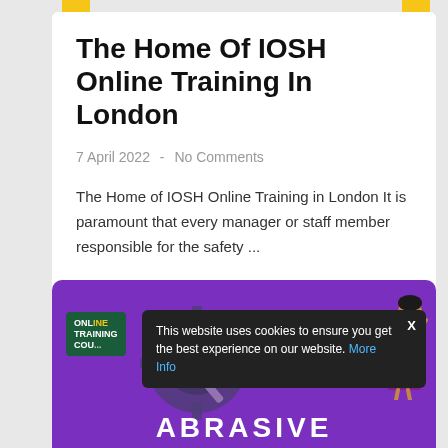The Home Of IOSH Online Training In London
7 April 2022  -  No Comments
The Home of IOSH Online Training in London It is paramount that every manager or staff member responsible for the safety ...
[Figure (screenshot): Purple card showing an online training course thumbnail with a gear/compass illustration, a character illustration, a cookie consent banner reading 'This website uses cookies to ensure you get the best experience on our website. More Info', a close button X, a logo reading 'ONLINE TRAINING COU...', and the text ABRASIVE at the bottom.]